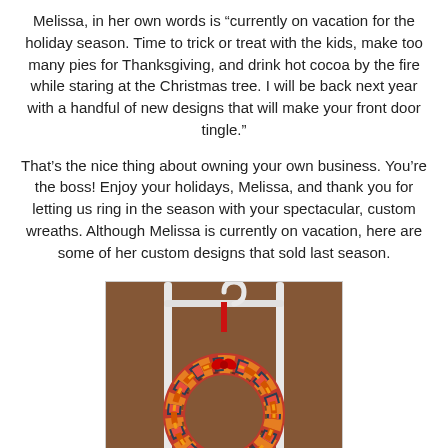Melissa, in her own words is “currently on vacation for the holiday season. Time to trick or treat with the kids, make too many pies for Thanksgiving, and drink hot cocoa by the fire while staring at the Christmas tree. I will be back next year with a handful of new designs that will make your front door tingle."
That’s the nice thing about owning your own business. You’re the boss! Enjoy your holidays, Melissa, and thank you for letting us ring in the season with your spectacular, custom wreaths. Although Melissa is currently on vacation, here are some of her custom designs that sold last season.
[Figure (photo): A colorful knitted or fabric wreath with orange, red, and dark stripes hanging from a white metal decorative rack by a red ribbon, photographed against a warm brown background.]